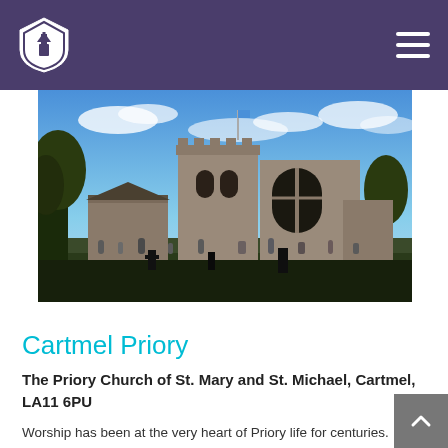Navigation bar with shield logo and hamburger menu
[Figure (photo): Exterior photograph of Cartmel Priory church building with stone architecture, large gothic windows, graveyard in foreground, blue sky with clouds in background]
Cartmel Priory
The Priory Church of St. Mary and St. Michael, Cartmel, LA11 6PU
Worship has been at the very heart of Priory life for centuries. Throughout history, people from all around the world have made pilgrimages to the Priory for prayer and